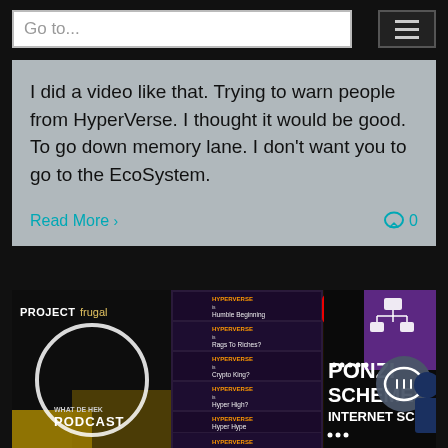Go to...
I did a video like that. Trying to warn people from HyperVerse. I thought it would be good. To go down memory lane. I don't want you to go to the EcoSystem.
Read More > 0
[Figure (photo): Composite thumbnail image showing 'PROJECT frugal' podcast branding, multiple HyperVerse video thumbnails, text reading 'PONZI SCHEMES INTERNET SCAMS', a chat bubble icon overlay, and imagery of a person with microphone and coins.]